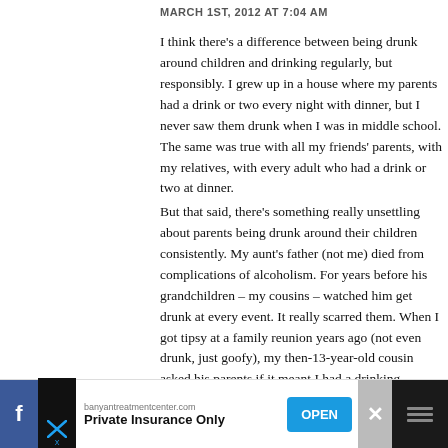MARCH 1ST, 2012 AT 7:04 AM
I think there's a difference between being drunk around children and drinking regularly, but responsibly. I grew up in a house where my parents had a drink or two every night with dinner, but I never saw them drunk when I was in middle school. The same was true with all my friends' parents, with my relatives, with every adult who had a drink or two at dinner.
But that said, there's something really unsettling about parents being drunk around their children consistently. My aunt's father (not mine) died from complications of alcoholism. For years before that, his grandchildren – my cousins – watched him get drunk at every family event. It really scarred them. When I got tipsy at a family reunion a few years ago (not even drunk, just goofy), my then-13-year-old cousin asked his parents if it meant I had a drinking problem. And that's because of going through that with their grandfather, not their parents. Also, since some alcoholism has come up with my blood relative, I have become a more careful a drinker than I was even 5 years ago – and certainly than a little kid.
[Figure (screenshot): Advertisement bar at bottom: Facebook icon, banyantreatmentcenter.com 'Private Insurance Only' ad with OPEN button, close X button, and dark icons on right]